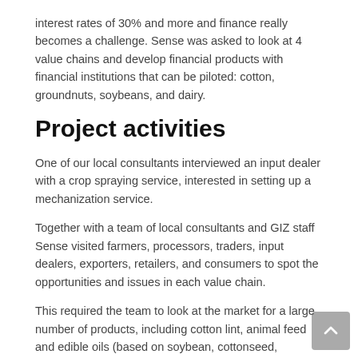interest rates of 30% and more and finance really becomes a challenge. Sense was asked to look at 4 value chains and develop financial products with financial institutions that can be piloted: cotton, groundnuts, soybeans, and dairy.
Project activities
One of our local consultants interviewed an input dealer with a crop spraying service, interested in setting up a mechanization service.
Together with a team of local consultants and GIZ staff Sense visited farmers, processors, traders, input dealers, exporters, retailers, and consumers to spot the opportunities and issues in each value chain.
This required the team to look at the market for a large number of products, including cotton lint, animal feed and edible oils (based on soybean, cottonseed, peanuts, and sunflower), chicken and beef and dairy farming (as users of animal feed), snack peanuts, peanut butter, and finally dairy.
For each value chain, one business model was identified that